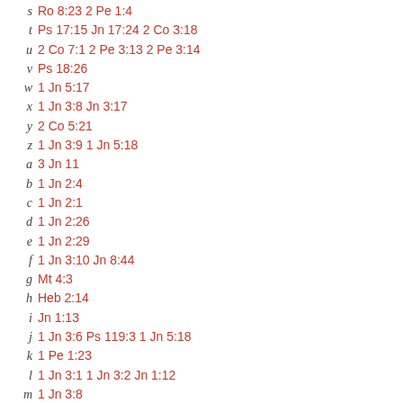s  Ro 8:23 2 Pe 1:4
t  Ps 17:15 Jn 17:24 2 Co 3:18
u  2 Co 7:1 2 Pe 3:13 2 Pe 3:14
v  Ps 18:26
w  1 Jn 5:17
x  1 Jn 3:8 Jn 3:17
y  2 Co 5:21
z  1 Jn 3:9 1 Jn 5:18
a  3 Jn 11
b  1 Jn 2:4
c  1 Jn 2:1
d  1 Jn 2:26
e  1 Jn 2:29
f  1 Jn 3:10 Jn 8:44
g  Mt 4:3
h  Heb 2:14
i  Jn 1:13
j  1 Jn 3:6 Ps 119:3 1 Jn 5:18
k  1 Pe 1:23
l  1 Jn 3:1 1 Jn 3:2 Jn 1:12
m  1 Jn 3:8
n  1 Jn 4:8